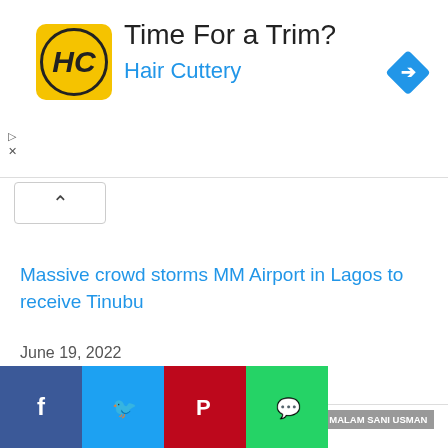[Figure (illustration): Hair Cuttery advertisement banner with yellow logo showing HC monogram, title 'Time For a Trim?' and blue 'Hair Cuttery' subtitle, with blue diamond navigation arrow icon on right]
[Figure (other): Collapse/expand chevron button (upward arrow) in a rounded rectangle]
Massive crowd storms MM Airport in Lagos to receive Tinubu
June 19, 2022
In "News"
TAGS  2023 PRESIDENTIAL ELECTION  ABUJA  APC  MALAM SANI USMAN  NAN  YEMI OSINBAJO
[Figure (other): Social share buttons row: Facebook (blue), Twitter (cyan), Pinterest (red), WhatsApp (green)]